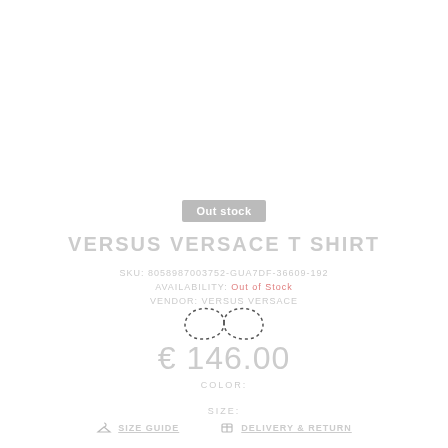Out stock
VERSUS VERSACE T SHIRT
SKU: 8058987003752-GUA7DF-36609-192
AVAILABILITY: Out of Stock
VENDOR: VERSUS VERSACE
[Figure (illustration): Infinity symbol drawn with dotted outline]
€ 146.00
COLOR:
SIZE:
SIZE GUIDE    DELIVERY & RETURN